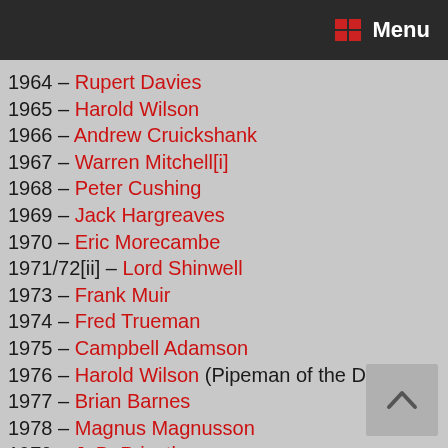Menu
1964 – Rupert Davies
1965 – Harold Wilson
1966 – Andrew Cruickshank
1967 – Warren Mitchell[i]
1968 – Peter Cushing
1969 – Jack Hargreaves
1970 – Eric Morecambe
1971/72[ii] – Lord Shinwell
1973 – Frank Muir
1974 – Fred Trueman
1975 – Campbell Adamson
1976 – Harold Wilson (Pipeman of the Decade)
1977 – Brian Barnes
1978 – Magnus Magnusson
1979 – J. B. Priestley
1980 – Edward Fox[iii]